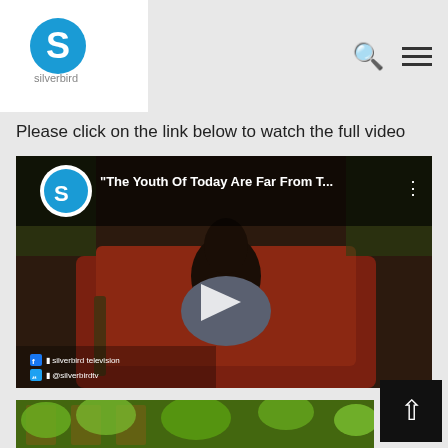[Figure (logo): Silverbird logo — circular blue S icon with 'silverbird' text below]
Please click on the link below to watch the full video
[Figure (screenshot): YouTube video embed thumbnail showing a person sitting on a leather sofa with a guitar nearby. Video title: "The Youth Of Today Are Far From T..." with Silverbird channel icon and a play button in the center. Bottom-left shows Facebook and Twitter/Instagram handles: silverbird television, @silverbirdtv]
[Figure (photo): Partial photo showing outdoor greenery and wooden frames at the bottom of the page]